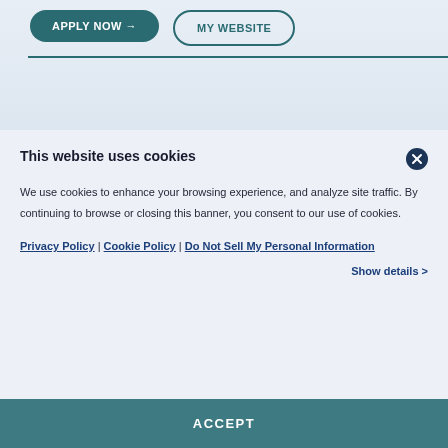[Figure (screenshot): Top section with two buttons: 'APPLY NOW →' (teal filled rounded) and 'MY WEBSITE' (outline rounded), with a teal horizontal divider below]
This website uses cookies
We use cookies to enhance your browsing experience, and analyze site traffic. By continuing to browse or closing this banner, you consent to our use of cookies.
Privacy Policy | Cookie Policy | Do Not Sell My Personal Information
Show details >
ACCEPT